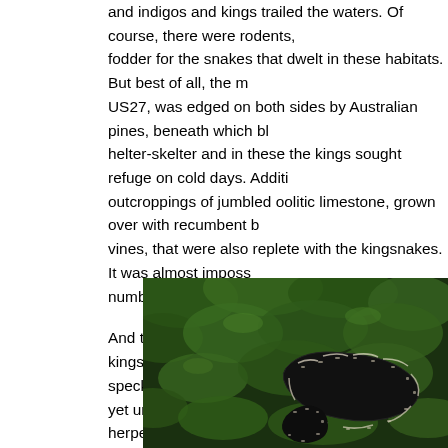and indigos and kings trailed the waters. Of course, there were rodents, fodder for the snakes that dwelt in these habitats. But best of all, the main road, US27, was edged on both sides by Australian pines, beneath which blanketed helter-skelter and in these the kings sought refuge on cold days. Additionally, outcroppings of jumbled oolitic limestone, grown over with recumbent bushes and vines, that were also replete with the kingsnakes. It was almost impossible to number of them.
And today (2019), although the various chain kings seem harder to find, speckled, black, and intergrade kings with genes yet unsullied, continue to grace herpetoculture. Certainly there are albinos and other morphs, but many localities have not yet been overlooked. I guess that once a hobbyist favorite, always a favorite. I hope so.
Less colorful than other kings, the black kingsnake is nontheless a spe...
[Figure (photo): A black kingsnake coiled among green leaves. The snake has a dark black body with white or cream chain-link or speckled pattern visible on its scales. It is resting on lush green foliage.]